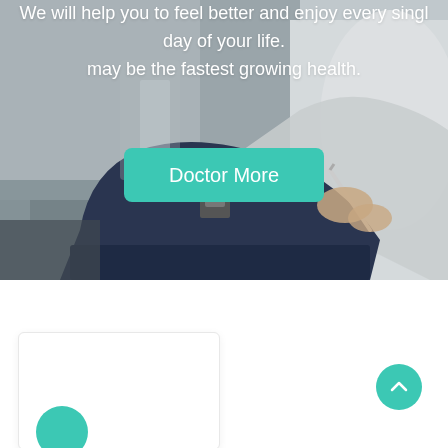[Figure (photo): Doctor or medical professional in white coat holding a dark navy clipboard and writing on it, blurred medical office background, grayscale-toned photo used as a hero banner background]
We will help you to feel better and enjoy every single day of your life.
may be the fastest growing health.
Doctor More
[Figure (other): Teal circular scroll-to-top button with upward chevron arrow icon]
[Figure (other): Partial white card visible in bottom-left with teal circular avatar/icon partially visible at bottom edge]